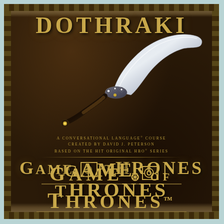[Figure (illustration): Book cover for a Dothraki language course based on HBO's Game of Thrones. Dark brown leather-textured background with decorative diamond-pattern border. A curved scythe/arakh weapon with dark handle and silver blade is depicted in the center. Title 'DOTHRAKI' appears at top in gold letters. Text describes it as 'A Conversational Language Course Created by David J. Peterson Based on the Hit Original HBO Series'. Large 'GAME OF THRONES' logo in gold at bottom.]
DOTHRAKI
A CONVERSATIONAL LANGUAGE® COURSE CREATED BY DAVID J. PETERSON BASED ON THE HIT ORIGINAL HBO® SERIES
GAME OF THRONES